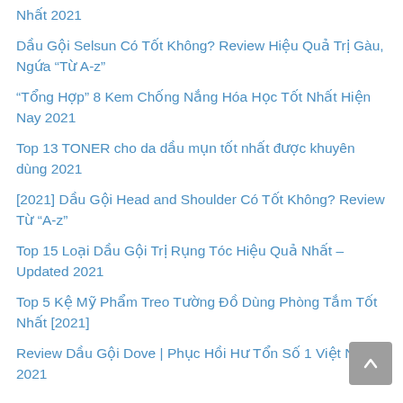Nhất 2021
Dầu Gội Selsun Có Tốt Không? Review Hiệu Quả Trị Gàu, Ngứa “Từ A-z”
“Tổng Hợp” 8 Kem Chống Nắng Hóa Học Tốt Nhất Hiện Nay 2021
Top 13 TONER cho da dầu mụn tốt nhất được khuyên dùng 2021
[2021] Dầu Gội Head and Shoulder Có Tốt Không? Review Từ “A-z”
Top 15 Loại Dầu Gội Trị Rụng Tóc Hiệu Quả Nhất – Updated 2021
Top 5 Kệ Mỹ Phẩm Treo Tường Đồ Dùng Phòng Tắm Tốt Nhất [2021]
Review Dầu Gội Dove | Phục Hồi Hư Tổn Số 1 Việt Nam – 2021